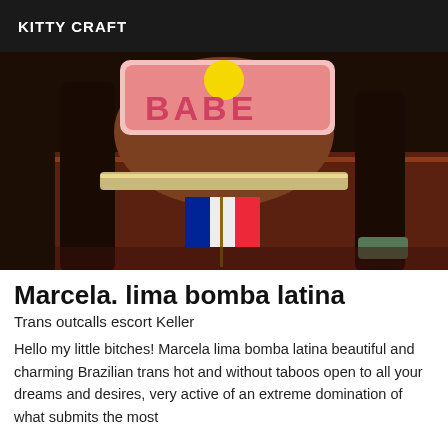KITTY CRAFT
[Figure (photo): Photo showing a person wearing fishnet stockings and a sparkly belt, holding a small French flag, with a decorative 'BABE' sign visible in the background on a patterned rug.]
Marcela. lima bomba latina
Trans outcalls escort Keller
Hello my little bitches! Marcela lima bomba latina beautiful and charming Brazilian trans hot and without taboos open to all your dreams and desires, very active of an extreme domination of what submits the most